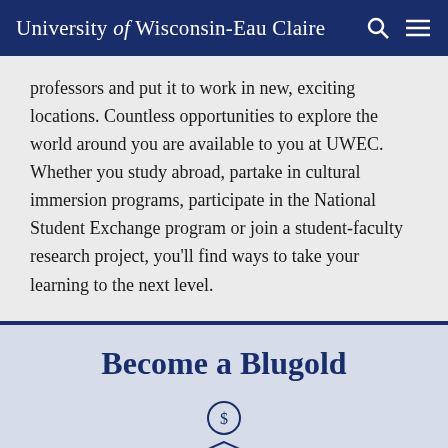University of Wisconsin-Eau Claire
professors and put it to work in new, exciting locations. Countless opportunities to explore the world around you are available to you at UWEC. Whether you study abroad, partake in cultural immersion programs, participate in the National Student Exchange program or join a student-faculty research project, you'll find ways to take your learning to the next level.
Become a Blugold
[Figure (illustration): Icon of a graduation cap with a dollar sign coin on top, representing cost/tuition.]
Cost
Tuition and Fees